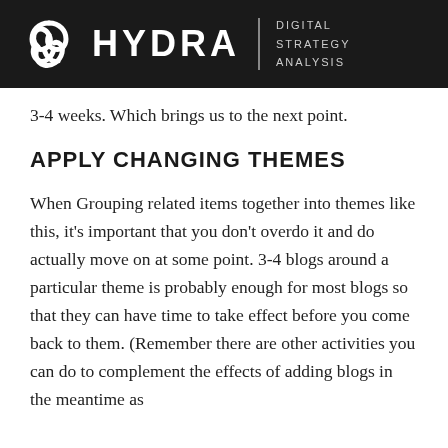HYDRA | DIGITAL STRATEGY ANALYSIS
3-4 weeks. Which brings us to the next point.
APPLY CHANGING THEMES
When Grouping related items together into themes like this, it’s important that you don’t overdo it and do actually move on at some point. 3-4 blogs around a particular theme is probably enough for most blogs so that they can have time to take effect before you come back to them. (Remember there are other activities you can do to complement the effects of adding blogs in the meantime as